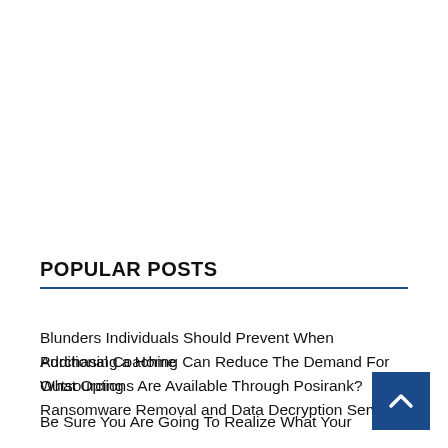POPULAR POSTS
Blunders Individuals Should Prevent When Purchasing a Home
Additional Coaching Can Reduce The Demand For Outsourcing
What Options Are Available Through Posirank?
Ransomware Removal and Data Decryption Services
Be Sure You Are Going To Realize What Your Consumers Expressing